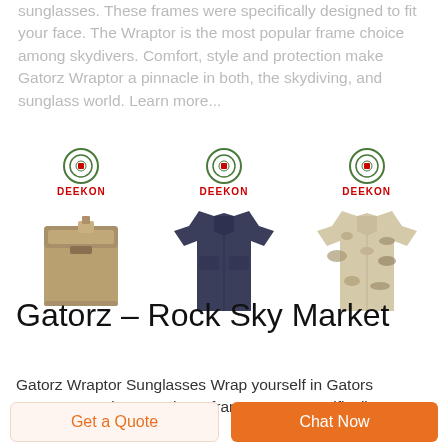sunglasses. These frames were specifically designed to fit your face. The Wraptor is the most popular frame choice among skydivers. Comfort, style and protection make Gatorz Wraptor a pinnacle in both, the skydiving, and sunglass world. Learn more...
[Figure (photo): Three product images each with Deekon logo: a tan military pouch, a dark navy long-sleeve shirt, and a desert camouflage long-sleeve shirt]
Gatorz – Rock Sky Market
Gatorz Wraptor Sunglasses Wrap yourself in Gators Wraptor Sunglasses. These frames were specifically designed to fit
Get a Quote
Chat Now